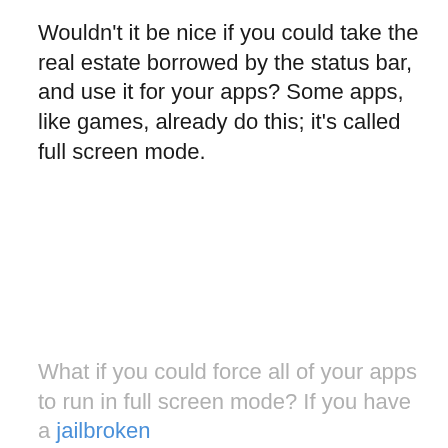Wouldn't it be nice if you could take the real estate borrowed by the status bar, and use it for your apps? Some apps, like games, already do this; it's called full screen mode.
What if you could force all of your apps to run in full screen mode? If you have a jailbroken